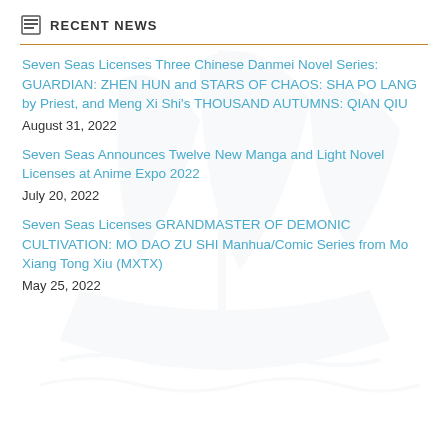RECENT NEWS
Seven Seas Licenses Three Chinese Danmei Novel Series: GUARDIAN: ZHEN HUN and STARS OF CHAOS: SHA PO LANG by Priest, and Meng Xi Shi's THOUSAND AUTUMNS: QIAN QIU
August 31, 2022
Seven Seas Announces Twelve New Manga and Light Novel Licenses at Anime Expo 2022
July 20, 2022
Seven Seas Licenses GRANDMASTER OF DEMONIC CULTIVATION: MO DAO ZU SHI Manhua/Comic Series from Mo Xiang Tong Xiu (MXTX)
May 25, 2022